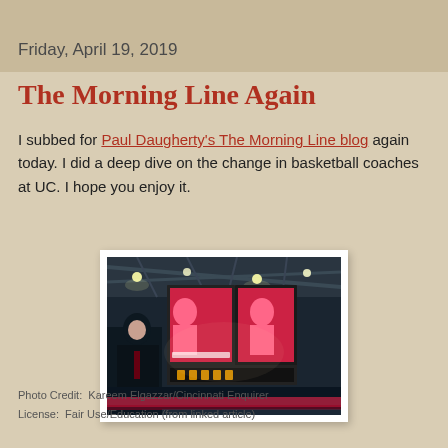Friday, April 19, 2019
The Morning Line Again
I subbed for Paul Daugherty's The Morning Line blog again today. I did a deep dive on the change in basketball coaches at UC. I hope you enjoy it.
[Figure (photo): A person standing in a basketball arena looking up at a large jumbotron scoreboard with bright LED displays showing basketball players]
Photo Credit:  Kareem Elgazzar/Cincinnati Enquirer
License:  Fair Use/Education (from linked article)